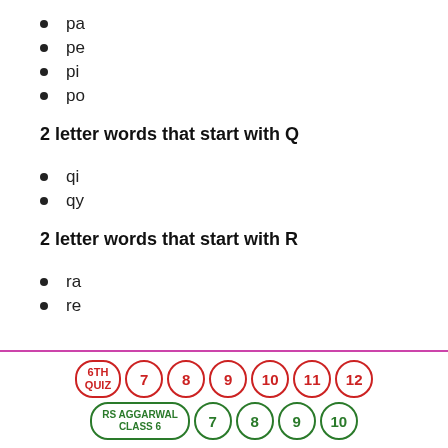pa
pe
pi
po
2 letter words that start with Q
qi
qy
2 letter words that start with R
ra
re
6TH QUIZ  7  8  9  10  11  12  RS AGGARWAL CLASS 6  7  8  9  10